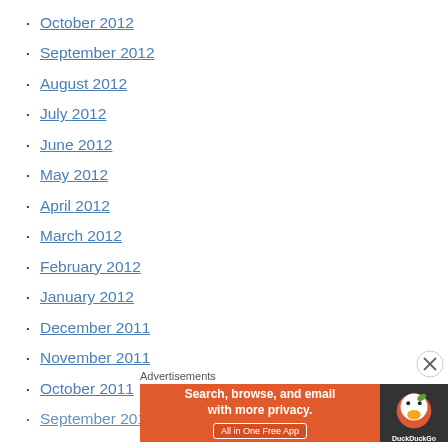October 2012
September 2012
August 2012
July 2012
June 2012
May 2012
April 2012
March 2012
February 2012
January 2012
December 2011
November 2011
October 2011
September 2011
Advertisements
[Figure (screenshot): DuckDuckGo advertisement banner: Search, browse, and email with more privacy. All in One Free App]